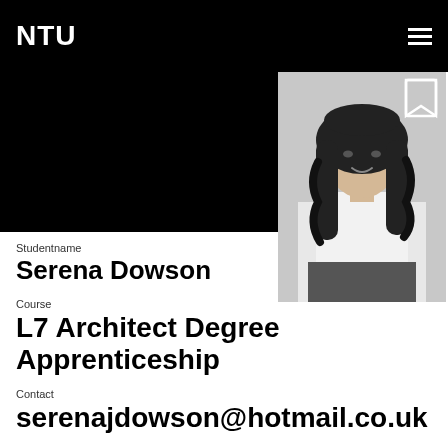NTU
[Figure (photo): Black and white portrait photo of Serena Dowson, a young woman with long curly dark hair, wearing a white top]
Studentname
Serena Dowson
Course
L7 Architect Degree Apprenticeship
Contact
serenajdowson@hotmail.co.uk
LinkedIn